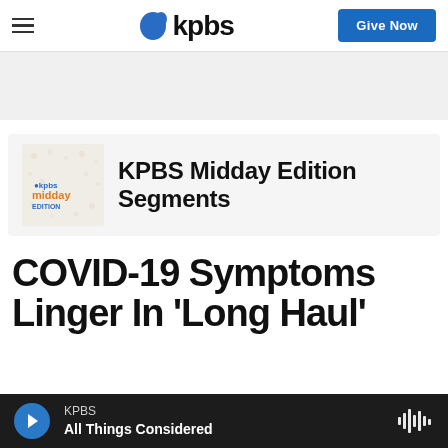KPBS
[Figure (screenshot): KPBS Midday Edition podcast thumbnail with orange and white logo]
KPBS Midday Edition Segments
COVID-19 Symptoms Linger In 'Long Haul'
KPBS | All Things Considered